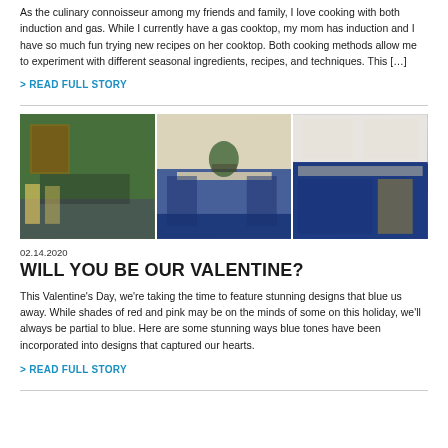As the culinary connoisseur among my friends and family, I love cooking with both induction and gas. While I currently have a gas cooktop, my mom has induction and I have so much fun trying new recipes on her cooktop. Both cooking methods allow me to experiment with different seasonal ingredients, recipes, and techniques. This […]
> READ FULL STORY
[Figure (photo): Three side-by-side kitchen photos featuring blue cabinetry designs]
02.14.2020
WILL YOU BE OUR VALENTINE?
This Valentine's Day, we're taking the time to feature stunning designs that blue us away. While shades of red and pink may be on the minds of some on this holiday, we'll always be partial to blue. Here are some stunning ways blue tones have been incorporated into designs that captured our hearts.
> READ FULL STORY